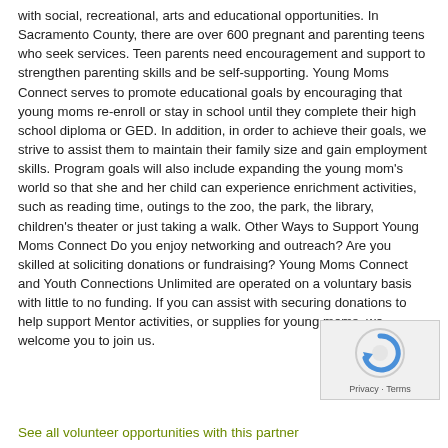with social, recreational, arts and educational opportunities. In Sacramento County, there are over 600 pregnant and parenting teens who seek services. Teen parents need encouragement and support to strengthen parenting skills and be self-supporting. Young Moms Connect serves to promote educational goals by encouraging that young moms re-enroll or stay in school until they complete their high school diploma or GED. In addition, in order to achieve their goals, we strive to assist them to maintain their family size and gain employment skills. Program goals will also include expanding the young mom's world so that she and her child can experience enrichment activities, such as reading time, outings to the zoo, the park, the library, children's theater or just taking a walk. Other Ways to Support Young Moms Connect Do you enjoy networking and outreach? Are you skilled at soliciting donations or fundraising? Young Moms Connect and Youth Connections Unlimited are operated on a voluntary basis with little to no funding. If you can assist with securing donations to help support Mentor activities, or supplies for young moms, we welcome you to join us.
[Figure (other): reCAPTCHA widget with Privacy and Terms links]
See all volunteer opportunities with this partner